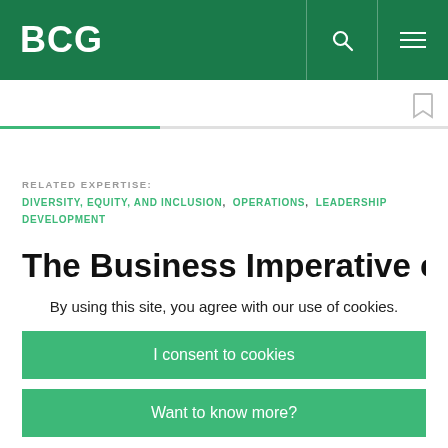BCG
RELATED EXPERTISE: DIVERSITY, EQUITY, AND INCLUSION, OPERATIONS, LEADERSHIP DEVELOPMENT
The Business Imperative of
By using this site, you agree with our use of cookies.
I consent to cookies
Want to know more?
Read our Cookie Policy